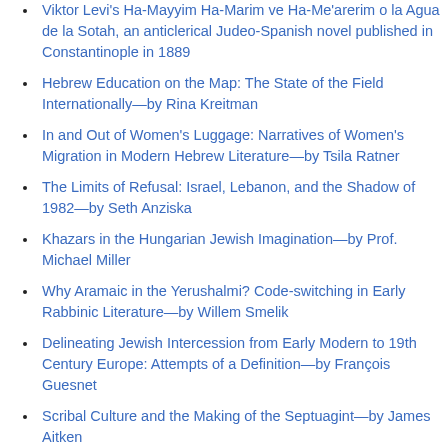Viktor Levi's Ha-Mayyim Ha-Marim ve Ha-Me'arerim o la Agua de la Sotah, an anticlerical Judeo-Spanish novel published in Constantinople in 1889
Hebrew Education on the Map: The State of the Field Internationally—by Rina Kreitman
In and Out of Women's Luggage: Narratives of Women's Migration in Modern Hebrew Literature—by Tsila Ratner
The Limits of Refusal: Israel, Lebanon, and the Shadow of 1982—by Seth Anziska
Khazars in the Hungarian Jewish Imagination—by Prof. Michael Miller
Why Aramaic in the Yerushalmi? Code-switching in Early Rabbinic Literature—by Willem Smelik
Delineating Jewish Intercession from Early Modern to 19th Century Europe: Attempts of a Definition—by François Guesnet
Scribal Culture and the Making of the Septuagint—by James Aitken
A natural yet providential tongue: Moses Mendelssohn on